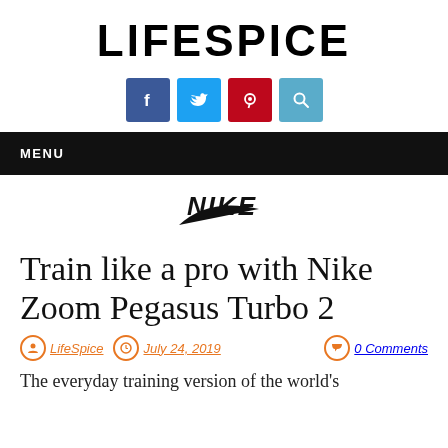LIFESPICE
[Figure (other): Social media icon buttons: Facebook (blue), Twitter (light blue), Pinterest (red), Search (teal)]
MENU
[Figure (logo): Nike swoosh logo in black italic text]
Train like a pro with Nike Zoom Pegasus Turbo 2
LifeSpice  July 24, 2019  0 Comments
The everyday training version of the world's